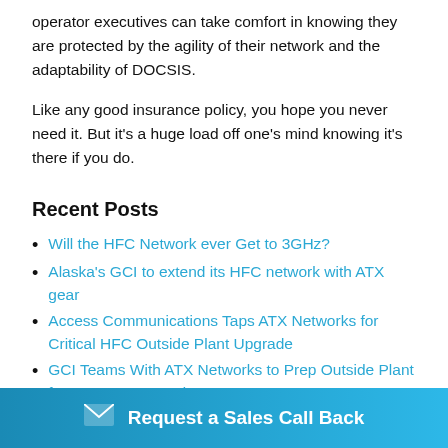operator executives can take comfort in knowing they are protected by the agility of their network and the adaptability of DOCSIS.
Like any good insurance policy, you hope you never need it. But it's a huge load off one's mind knowing it's there if you do.
Recent Posts
Will the HFC Network ever Get to 3GHz?
Alaska's GCI to extend its HFC network with ATX gear
Access Communications Taps ATX Networks for Critical HFC Outside Plant Upgrade
GCI Teams With ATX Networks to Prep Outside Plant for DOCSIS 4.0 and 10G
Ode to
MSOs:
Request a Sales Call Back